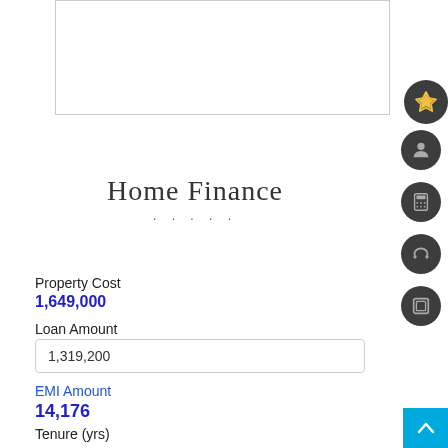[Figure (other): White image placeholder box with light gray border]
Home Finance
Property Cost
1,649,000
Loan Amount
1,319,200
EMI Amount
14,176
Tenure (yrs)